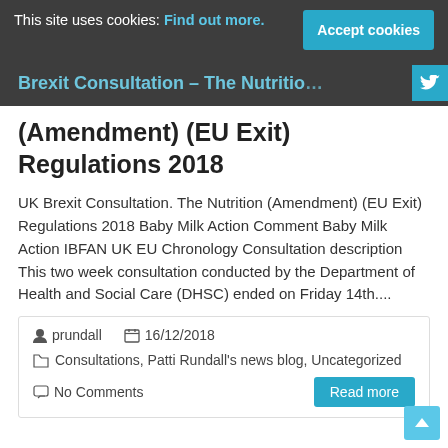This site uses cookies: Find out more.  Accept cookies
Brexit Consultation – The Nutrition (Amendment) (EU Exit) Regulations 2018
Brexit Consultation – The Nutrition (Amendment) (EU Exit) Regulations 2018
UK Brexit Consultation. The Nutrition (Amendment) (EU Exit) Regulations 2018 Baby Milk Action Comment Baby Milk Action IBFAN UK EU Chronology Consultation description This two week consultation conducted by the Department of Health and Social Care (DHSC) ended on Friday 14th....
prundall   16/12/2018   Consultations, Patti Rundall's news blog, Uncategorized   No Comments   Read more